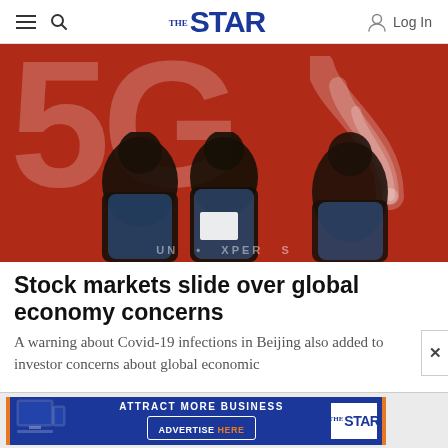THE STAR — navigation bar with hamburger menu, search icon, The Star logo, and Log In button
[Figure (photo): Photo of people standing in front of a large red 5G display sign with white 5G logo and signal arc. Text at bottom partially visible: 'UN...XPER...S']
Stock markets slide over global economy concerns
A warning about Covid-19 infections in Beijing also added to investor concerns about global economic
[Figure (other): Advertisement banner: ATTRACT MORE BUSINESS / ADVERTISE HERE — with The Star logo]